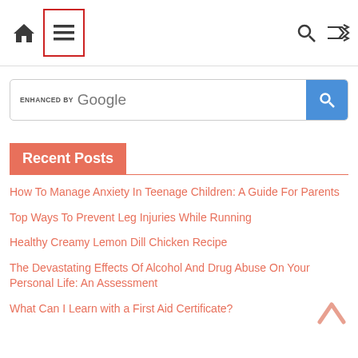Navigation bar with home icon, menu icon, search icon, shuffle icon
[Figure (screenshot): Google enhanced search bar with blue search button]
Recent Posts
How To Manage Anxiety In Teenage Children: A Guide For Parents
Top Ways To Prevent Leg Injuries While Running
Healthy Creamy Lemon Dill Chicken Recipe
The Devastating Effects Of Alcohol And Drug Abuse On Your Personal Life: An Assessment
What Can I Learn with a First Aid Certificate?